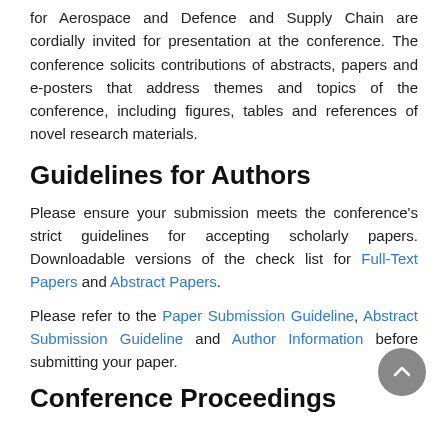for Aerospace and Defence and Supply Chain are cordially invited for presentation at the conference. The conference solicits contributions of abstracts, papers and e-posters that address themes and topics of the conference, including figures, tables and references of novel research materials.
Guidelines for Authors
Please ensure your submission meets the conference's strict guidelines for accepting scholarly papers. Downloadable versions of the check list for Full-Text Papers and Abstract Papers.
Please refer to the Paper Submission Guideline, Abstract Submission Guideline and Author Information before submitting your paper.
Conference Proceedings